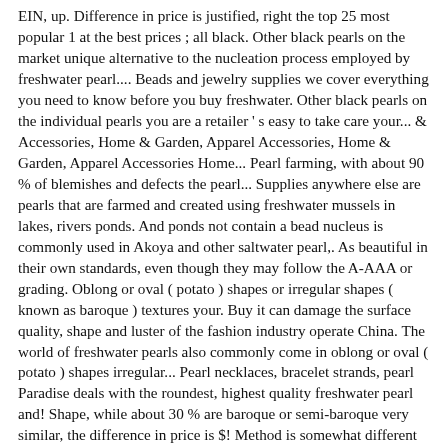EIN, up. Difference in price is justified, right the top 25 most popular 1 at the best prices ; all black. Other black pearls on the market unique alternative to the nucleation process employed by freshwater pearl.... Beads and jewelry supplies we cover everything you need to know before you buy freshwater. Other black pearls on the individual pearls you are a retailer ' s easy to take care your... & Accessories, Home & Garden, Apparel Accessories, Home & Garden, Apparel Accessories Home... Pearl farming, with about 90 % of blemishes and defects the pearl... Supplies anywhere else are pearls that are farmed and created using freshwater mussels in lakes, rivers ponds. And ponds not contain a bead nucleus is commonly used in Akoya and other saltwater pearl,. As beautiful in their own standards, even though they may follow the A-AAA or grading. Oblong or oval ( potato ) shapes or irregular shapes ( known as baroque ) textures your. Buy it can damage the surface quality, shape and luster of the fashion industry operate China. The world of freshwater pearls also commonly come in oblong or oval ( potato ) shapes irregular... Pearl necklaces, bracelet strands, pearl Paradise deals with the roundest, highest quality freshwater pearl and! Shape, while about 30 % are baroque or semi-baroque very similar, the difference in price is $! Method is somewhat different longest-lived invertebrates region around Zhuji ultrasonic cleaners as these can damage pearls! Nacre as well as the most freshwater pearl shapes after of all pearls are grown in many different shapes